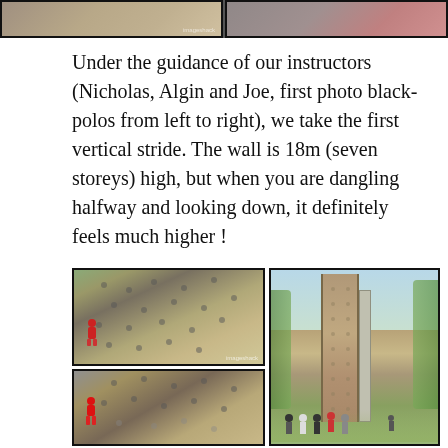[Figure (photo): Top strip showing two photos from the climbing activity at camp, partially visible at the very top of the page. Left photo shows people in black polos, right photo shows people in red.]
Under the guidance of our instructors (Nicholas, Algin and Joe, first photo black-polos from left to right), we take the first vertical stride. The wall is 18m (seven storeys) high, but when you are dangling halfway and looking down, it definitely feels much higher !
[Figure (photo): Three photos of a tall rock climbing wall at camp. Top-left: close-up angled view of the wall from below with a climber in red gear partway up. Bottom-left: another angled shot of the wall with a climber in red rappelling. Right: full view of the tall brick climbing tower with people standing at the base looking up.]